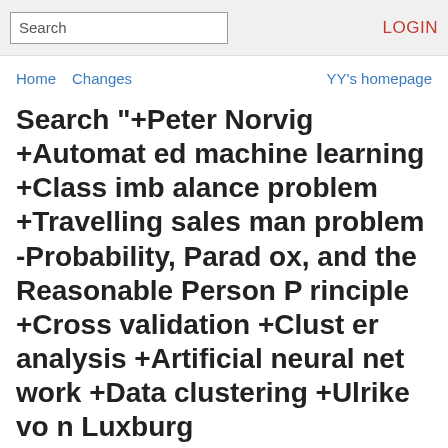Search | LOGIN
Home  Changes  YY's homepage
Search "+Peter Norvig +Automated machine learning +Class imbalance problem +Travelling salesman problem -Probability, Paradox, and the Reasonable Person Principle +Cross validation +Cluster analysis +Artificial neural network +Data clustering +Ulrike von Luxburg +Jupyter/notebook +Brain network +Gradient descent +Probability -scikit-learn"